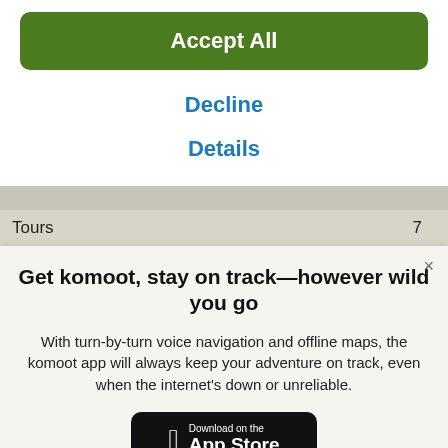Accept All
Decline
Details
Tours 7
Get komoot, stay on track—however wild you go
With turn-by-turn voice navigation and offline maps, the komoot app will always keep your adventure on track, even when the internet's down or unreliable.
[Figure (other): Download on the App Store button]